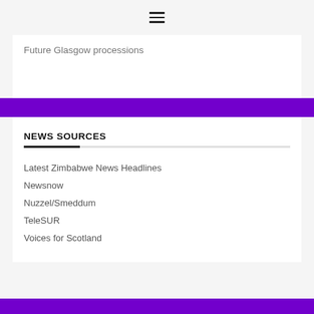≡
Future Glasgow processions
NEWS SOURCES
Latest Zimbabwe News Headlines
Newsnow
Nuzzel/Smeddum
TeleSUR
Voices for Scotland